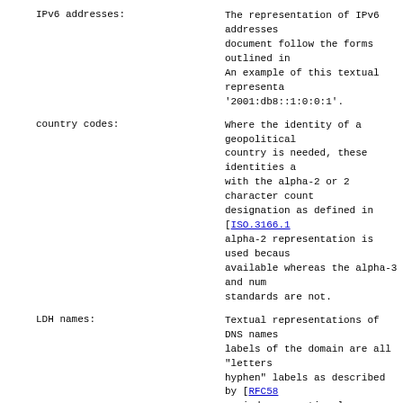IPv6 addresses: The representation of IPv6 addresses in this document follow the forms outlined in [RFC5952]. An example of this textual representation is '2001:db8::1:0:0:1'.
country codes: Where the identity of a geopolitical country is needed, these identities are aligned with the alpha-2 or 2 character country code designation as defined in [ISO.3166.1988]. The alpha-2 representation is used because it is universally available whereas the alpha-3 and numeric standards are not.
LDH names: Textual representations of DNS names where the labels of the domain are all "letters, digits, hyphen" labels as described by [RFC5890]. Trailing periods are optional.
Unicode names: Textual representations of DNS names where one or more of the labels are U-labels as described by [RFC5890]. Trailing periods are optional.
dates and times: The syntax for values denoting dates and times is defined in [RFC3339].
URIs: The syntax for values denoting a Uniform Resource Identifier (URI) is defined by [RFC3986].
Contact information is defined using JSON vCards as described in [I-D.ietf-jcardcal-jcard].